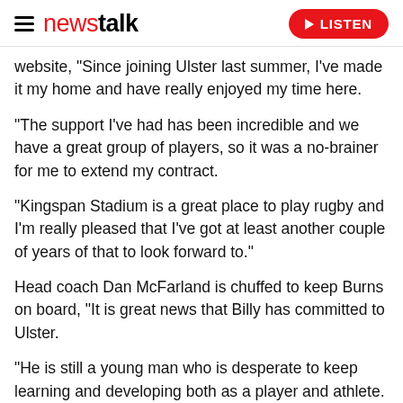newstalk — LISTEN
website, "Since joining Ulster last summer, I've made it my home and have really enjoyed my time here.
"The support I've had has been incredible and we have a great group of players, so it was a no-brainer for me to extend my contract.
"Kingspan Stadium is a great place to play rugby and I'm really pleased that I've got at least another couple of years of that to look forward to."
Head coach Dan McFarland is chuffed to keep Burns on board, "It is great news that Billy has committed to Ulster.
"He is still a young man who is desperate to keep learning and developing both as a player and athlete.
"He has already contributed hugely on the pitch throughout last year's campaign, and has demonstrated an excellent